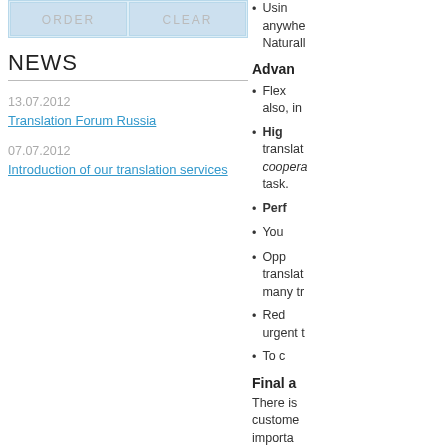[Figure (other): Top bar with ORDER and CLEAR buttons on light blue background]
NEWS
13.07.2012
Translation Forum Russia
07.07.2012
Introduction of our translation services
Using anywhere Naturally
Advan
Flex also, in
High translat coopera task.
Perf
You
Opp translat many tr
Red urgent t
To c
Final a
There is custome importa